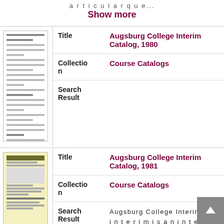articular que...
Show more
| Field | Value |
| --- | --- |
| Title | Augsburg College Interim Catalog, 1980 |
| Collection | Course Catalogs |
| Search Result |  |
| Field | Value |
| --- | --- |
| Title | Augsburg College Interim Catalog, 1981 |
| Collection | Course Catalogs |
| Search Result | Augsburg College Interim The interim is an integral part of the school year at Augsburg College. It is particularly int ended to be a time for both |